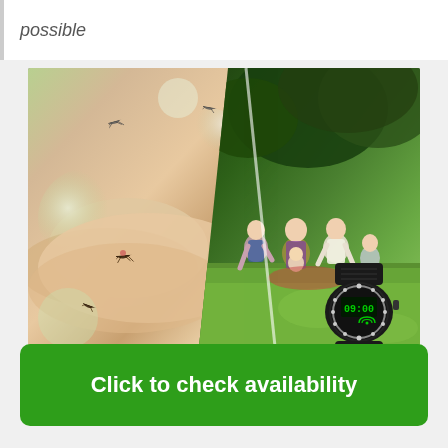possible
[Figure (photo): Split composite image: left side shows close-up of mosquitoes on a human hand/skin with blurred bokeh background; right side shows a happy family having a picnic on grass in a park. A black smart wristband device with a round digital display (showing 09:00) is overlaid on the bottom-right corner. Small mosquito silhouette thumbnails appear along the bottom edge.]
Click to check availability